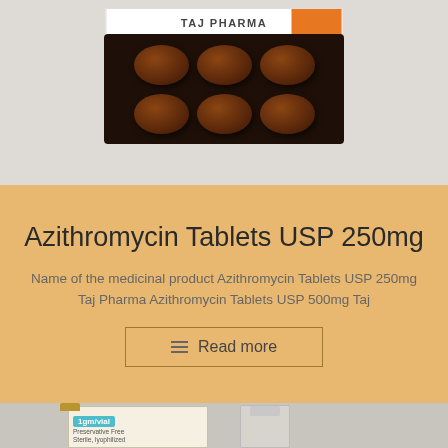[Figure (photo): Blister pack of dark brown tablets with Taj Pharma branded packaging on a light gray background]
Azithromycin Tablets USP 250mg
Name of the medicinal product Azithromycin Tablets USP 250mg Taj Pharma Azithromycin Tablets USP 500mg Taj
Read more
[Figure (photo): Pharmaceutical vials including a labeled vial (1gm/vial, Preservative Free, Sterile, lyophilized) and a clear glass vial on a light gray background]